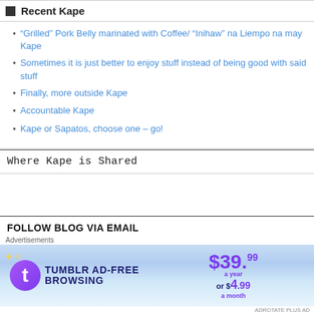Recent Kape
“Grilled” Pork Belly marinated with Coffee/ “Inihaw” na Liempo na may Kape
Sometimes it is just better to enjoy stuff instead of being good with said stuff
Finally, more outside Kape
Accountable Kape
Kape or Sapatos, choose one – go!
Where Kape is Shared
FOLLOW BLOG VIA EMAIL
Enter your email address to follow this blog and receive notifications of new
[Figure (advertisement): Tumblr AD-FREE BROWSING advertisement banner. $39.99 a year or $4.99 a month]